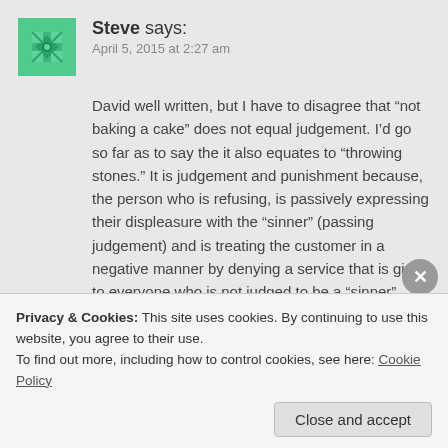[Figure (illustration): Green decorative avatar/icon with snowflake-like pattern]
Steve says:
April 5, 2015 at 2:27 am
David well written, but I have to disagree that “not baking a cake” does not equal judgement. I’d go so far as to say the it also equates to “throwing stones.” It is judgement and punishment because, the person who is refusing, is passively expressing their displeasure with the “sinner” (passing judgement) and is treating the customer in a negative manner by denying a service that is given to everyone who is not judged to be a “sinner” (throwing stones)
Privacy & Cookies: This site uses cookies. By continuing to use this website, you agree to their use.
To find out more, including how to control cookies, see here: Cookie Policy
Close and accept